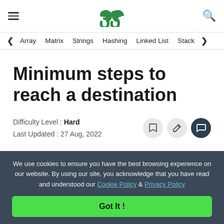GeeksforGeeks — hamburger menu, logo, search icon
< Array  Matrix  Strings  Hashing  Linked List  Stack >
Minimum steps to reach a destination
Difficulty Level : Hard
Last Updated : 27 Aug, 2022
We use cookies to ensure you have the best browsing experience on our website. By using our site, you acknowledge that you have read and understood our Cookie Policy & Privacy Policy
Got It !